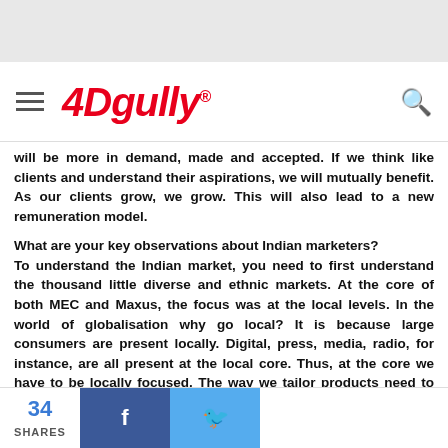Adgully logo header with hamburger menu and search icon
will be more in demand, made and accepted. If we think like clients and understand their aspirations, we will mutually benefit. As our clients grow, we grow. This will also lead to a new remuneration model.
What are your key observations about Indian marketers?
To understand the Indian market, you need to first understand the thousand little diverse and ethnic markets. At the core of both MEC and Maxus, the focus was at the local levels. In the world of globalisation why go local? It is because large consumers are present locally. Digital, press, media, radio, for instance, are all present at the local core. Thus, at the core we have to be locally focused. The way we tailor products need to be locally focused, otherwise that is not going to breed success.
34 SHARES